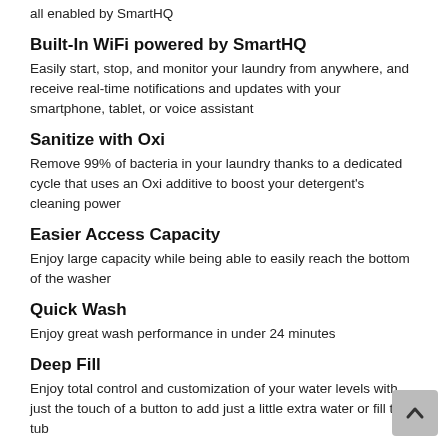all enabled by SmartHQ
Built-In WiFi powered by SmartHQ
Easily start, stop, and monitor your laundry from anywhere, and receive real-time notifications and updates with your smartphone, tablet, or voice assistant
Sanitize with Oxi
Remove 99% of bacteria in your laundry thanks to a dedicated cycle that uses an Oxi additive to boost your detergent's cleaning power
Easier Access Capacity
Enjoy large capacity while being able to easily reach the bottom of the washer
Quick Wash
Enjoy great wash performance in under 24 minutes
Deep Fill
Enjoy total control and customization of your water levels with just the touch of a button to add just a little extra water or fill the tub
ENERGY STAR® certified